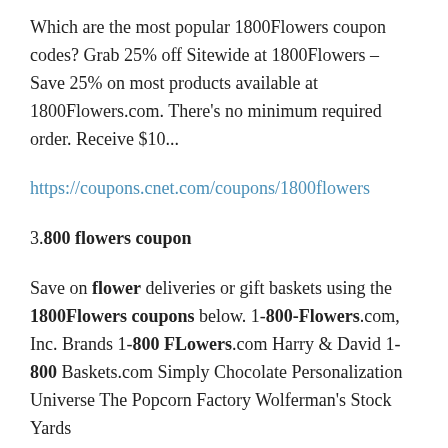Which are the most popular 1800Flowers coupon codes? Grab 25% off Sitewide at 1800Flowers – Save 25% on most products available at 1800Flowers.com. There's no minimum required order. Receive $10...
https://coupons.cnet.com/coupons/1800flowers
3.800 flowers coupon
Save on flower deliveries or gift baskets using the 1800Flowers coupons below. 1-800-Flowers.com, Inc. Brands 1-800 FLowers.com Harry & David 1-800 Baskets.com Simply Chocolate Personalization Universe The Popcorn Factory Wolferman's Stock Yards
https://www.retailmenot.com/view/1800flowers.com